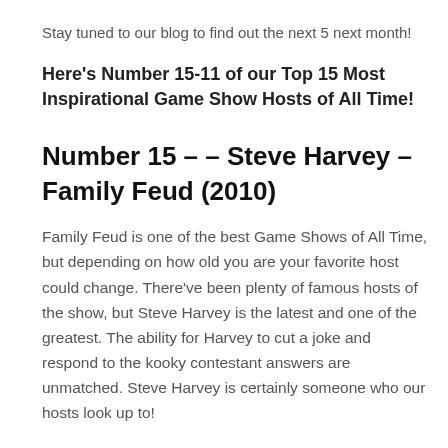Stay tuned to our blog to find out the next 5 next month!
Here's Number 15-11 of our Top 15 Most Inspirational Game Show Hosts of All Time!
Number 15 – – Steve Harvey – Family Feud (2010)
Family Feud is one of the best Game Shows of All Time, but depending on how old you are your favorite host could change. There've been plenty of famous hosts of the show, but Steve Harvey is the latest and one of the greatest. The ability for Harvey to cut a joke and respond to the kooky contestant answers are unmatched. Steve Harvey is certainly someone who our hosts look up to!